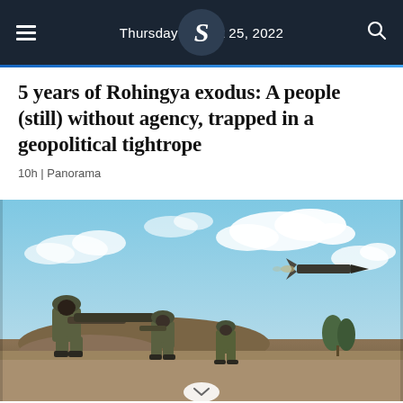Thursday August 25, 2022
5 years of Rohingya exodus: A people (still) without agency, trapped in a geopolitical tightrope
10h | Panorama
[Figure (photo): Soldiers in military camouflage gear crouching on a grassy mound, one holding a shoulder-launched missile launcher; a missile is visible in flight against a partly cloudy blue sky.]